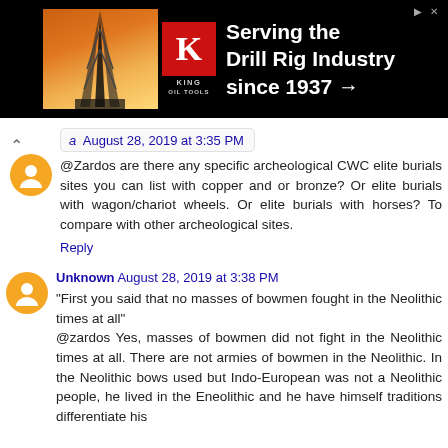[Figure (photo): Advertisement banner for King Oil Tools: 'Serving the Drill Rig Industry since 1937 →' with an oil derrick photo and red K logo on black background]
a  August 28, 2019 at 3:35 PM
@Zardos are there any specific archeological CWC elite burials sites you can list with copper and or bronze? Or elite burials with wagon/chariot wheels. Or elite burials with horses? To compare with other archeological sites.
Reply
Unknown  August 28, 2019 at 3:38 PM
"First you said that no masses of bowmen fought in the Neolithic times at all"
@zardos Yes, masses of bowmen did not fight in the Neolithic times at all. There are not armies of bowmen in the Neolithic. In the Neolithic bows used but Indo-European was not a Neolithic people, he lived in the Eneolithic and he have himself traditions differentiate his